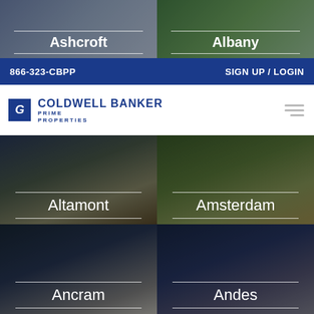[Figure (photo): Two cropped city card images at top: left shows interior room (Amsterdam/furniture), right shows outdoor path (Albany)]
866-323-CBPP    SIGN UP / LOGIN
[Figure (logo): Coldwell Banker Prime Properties logo with CB icon and hamburger menu]
[Figure (photo): City card: Altamont - decorative pillows]
[Figure (photo): City card: Amsterdam - puppy/dog]
[Figure (photo): City card: Ancram - house exterior at night/dusk]
[Figure (photo): City card: Andes - house exterior evening]